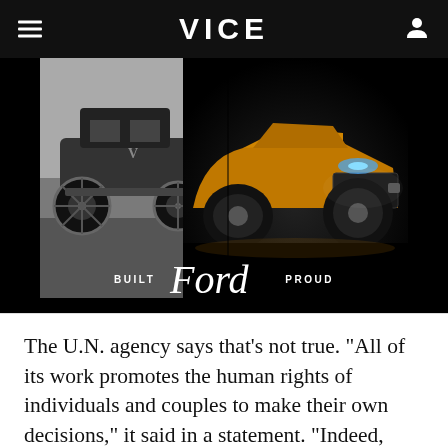VICE
[Figure (photo): Ford advertisement showing a split image: left half is a black-and-white antique Ford car, right half is a gold/orange modern Ford Mustang Mach-E electric SUV. Text reads 'BUILT Ford PROUD' with the Ford script logo in the center.]
The U.N. agency says that’s not true. “All of its work promotes the human rights of individuals and couples to make their own decisions,” it said in a statement. “Indeed, United Natio...